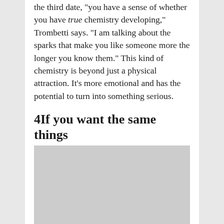the third date, "you have a sense of whether you have true chemistry developing," Trombetti says. "I am talking about the sparks that make you like someone more the longer you know them." This kind of chemistry is beyond just a physical attraction. It’s more emotional and has the potential to turn into something serious.
4If you want the same things
[Figure (photo): Image placeholder area, grey rectangle]
While you may not exactly be picturing a